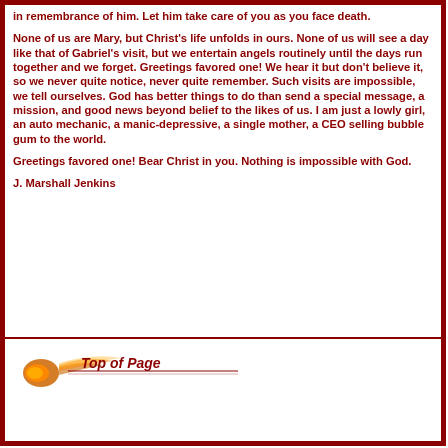in remembrance of him. Let him take care of you as you face death.
None of us are Mary, but Christ's life unfolds in ours. None of us will see a day like that of Gabriel's visit, but we entertain angels routinely until the days run together and we forget. Greetings favored one! We hear it but don't believe it, so we never quite notice, never quite remember. Such visits are impossible, we tell ourselves. God has better things to do than send a special message, a mission, and good news beyond belief to the likes of us. I am just a lowly girl, an auto mechanic, a manic-depressive, a single mother, a CEO selling bubble gum to the world.
Greetings favored one! Bear Christ in you. Nothing is impossible with God.
J. Marshall Jenkins
[Figure (logo): Top of Page logo with fireball/comet icon and italic text 'Top of Page' with a horizontal line underneath]